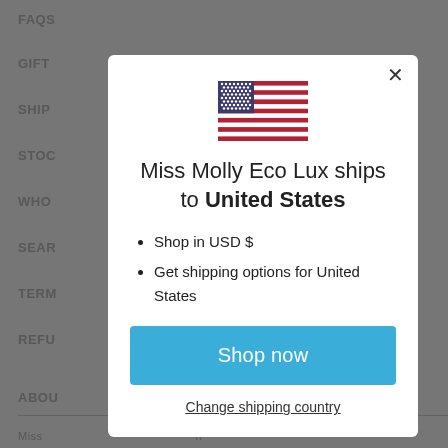FAQS
GIFT
SHIPP
STOC
WHO
SEAR
TERM
REFU
ABOU
Miss Molly Eco Lux ships to United States
Shop in USD $
Get shipping options for United States
Shop now
Change shipping country